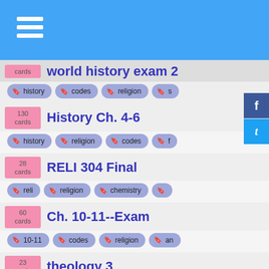cards world history exam 2 — tags: history, codes, religion, s…
130 cards — History Ch. 4-6 — tags: history, religion, codes, f…
28 cards — RELI 304 Final — tags: reli, religion, chemistry
60 cards — Ch. 10-11--Exam — tags: 10-11, codes, religion, an…
23 cards — theology 3 — tags: luke, religion, judaism, e…
153 cards — Hnrs 240 Unit Three — tags: hnrs-240-unit-f, codes, medical
121 cards — Theology Final — tags: biology, medicine, religion